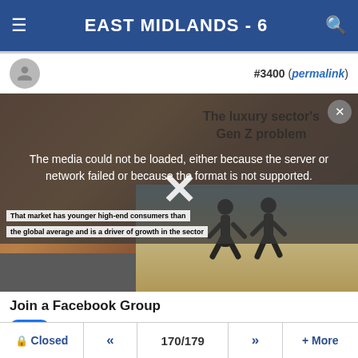EAST MIDLANDS - 6
#3400 (permalink)
[Figure (screenshot): Media player overlay with error message: 'The media could not be loaded, either because the server or network failed or because the format is not supported.' Background shows a partially visible video thumbnail with text 'The luxury sector's Gen Z problem' and caption boxes reading 'That market has younger high-end consumers than the global average and is a driver of growth in the sector'. A large X close button is shown. Below, a running scene image is shown with two people running by water.]
The luxury sector's Gen Z problem
The media could not be loaded, either because the server or network failed or because the format is not supported.
That market has younger high-end consumers than the global average and is a driver of growth in the sector
Join a Facebook Group
Join Groups, express interests, connect with friends globally on Facebook.
Closed  «  170/179  »  + More